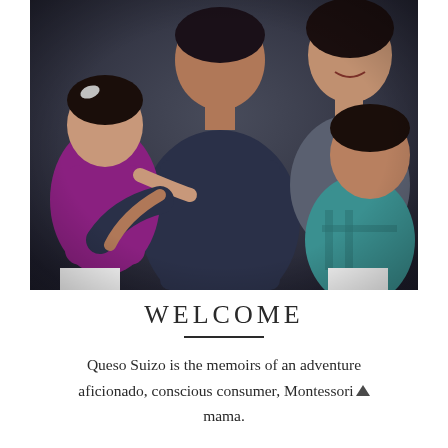[Figure (photo): A family photo showing two adults and two children hugging closely. A young toddler girl in a purple/magenta outfit is on the left, a man in a dark blue button-up shirt is in the center-back, a woman smiling in a gray top is upper-right, and a boy in a teal/turquoise shirt is on the right. The image is in a slightly desaturated, warm-toned style.]
WELCOME
Queso Suizo is the memoirs of an adventure aficionado, conscious consumer, Montessori▲ mama.